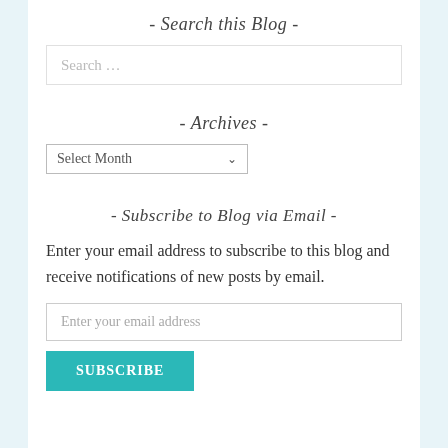- Search this Blog -
[Figure (other): Search input box with placeholder text 'Search …']
- Archives -
[Figure (other): Dropdown select box with label 'Select Month' and dropdown arrow]
- Subscribe to Blog via Email -
Enter your email address to subscribe to this blog and receive notifications of new posts by email.
[Figure (other): Email input field with placeholder 'Enter your email address']
[Figure (other): Teal subscribe button labeled SUBSCRIBE]